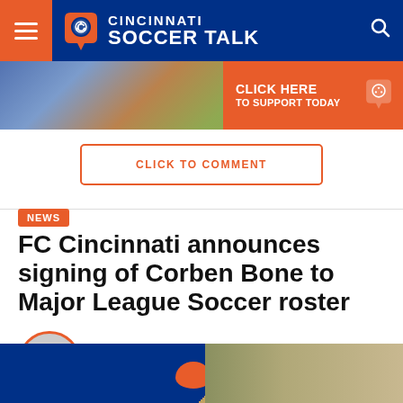Cincinnati Soccer Talk
[Figure (photo): Banner advertisement with crowd photo and orange 'CLICK HERE TO SUPPORT TODAY' call-to-action with Cincinnati Soccer Talk logo]
CLICK TO COMMENT
NEWS
FC Cincinnati announces signing of Corben Bone to Major League Soccer roster
By Jacob Clary
Posted on November 19, 2018
[Figure (photo): Bottom image strip showing blue and tan/beige tones with an orange shape and partial figures]